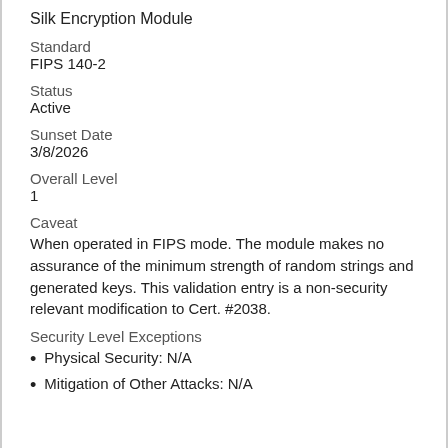Silk Encryption Module
Standard
FIPS 140-2
Status
Active
Sunset Date
3/8/2026
Overall Level
1
Caveat
When operated in FIPS mode. The module makes no assurance of the minimum strength of random strings and generated keys. This validation entry is a non-security relevant modification to Cert. #2038.
Security Level Exceptions
Physical Security: N/A
Mitigation of Other Attacks: N/A